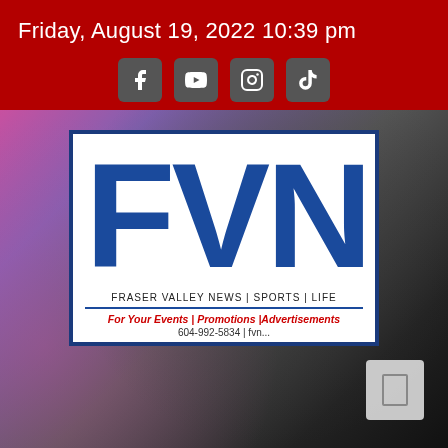Friday, August 19, 2022 10:39 pm
[Figure (logo): Social media icons: Facebook, YouTube, Instagram, TikTok]
[Figure (logo): FVN (Fraser Valley News) logo with large blue FVN letters on white background, tagline FRASER VALLEY NEWS | SPORTS | LIFE, contact For Your Events | Promotions |Advertisements, phone 604-992-5834 | fvn...]